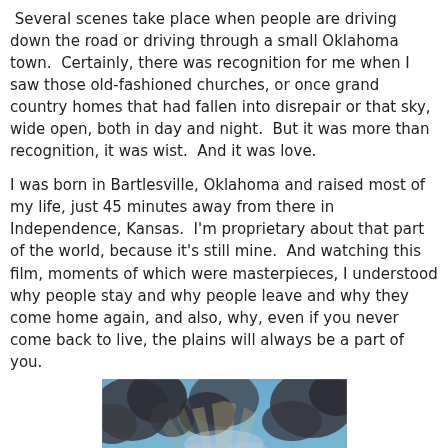Several scenes take place when people are driving down the road or driving through a small Oklahoma town.  Certainly, there was recognition for me when I saw those old-fashioned churches, or once grand country homes that had fallen into disrepair or that sky, wide open, both in day and night.  But it was more than recognition, it was wist.  And it was love.
I was born in Bartlesville, Oklahoma and raised most of my life, just 45 minutes away from there in Independence, Kansas.  I'm proprietary about that part of the world, because it's still mine.  And watching this film, moments of which were masterpieces, I understood why people stay and why people leave and why they come home again, and also, why, even if you never come back to live, the plains will always be a part of you.
[Figure (photo): A wide landscape photograph showing a dramatic sky with dark storm clouds and rays of light breaking through, above a flat green plains horizon with sparse silhouettes of trees and structures.]